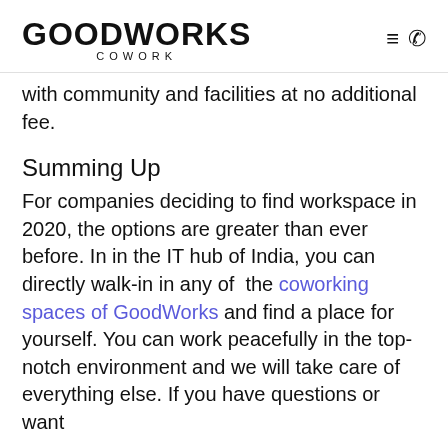GOODWORKS COWORK
with community and facilities at no additional fee.
Summing Up
For companies deciding to find workspace in 2020, the options are greater than ever before. In in the IT hub of India, you can directly walk-in in any of  the coworking spaces of GoodWorks and find a place for yourself. You can work peacefully in the top-notch environment and we will take care of everything else. If you have questions or want